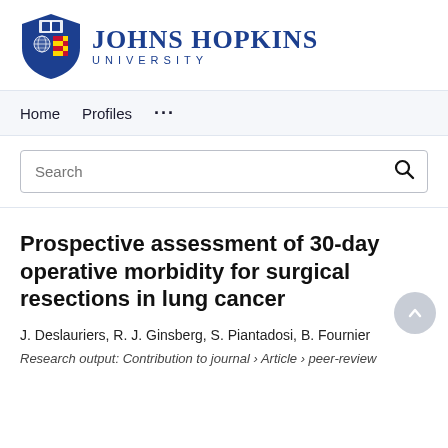[Figure (logo): Johns Hopkins University logo with shield and university name text]
Home   Profiles   ...
Search
Prospective assessment of 30-day operative morbidity for surgical resections in lung cancer
J. Deslauriers, R. J. Ginsberg, S. Piantadosi, B. Fournier
Research output: Contribution to journal › Article › peer-review